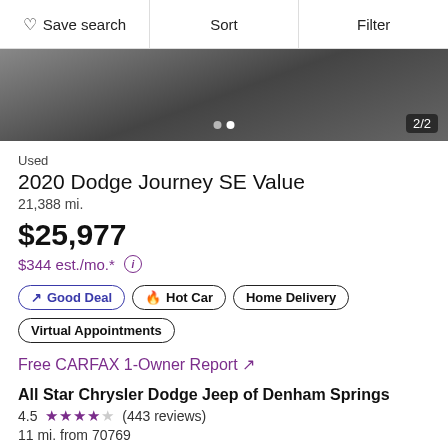Save search | Sort | Filter
[Figure (photo): Partial car photo showing front lower grille and tire area, dark colored vehicle, image 2 of 2]
Used
2020 Dodge Journey SE Value
21,388 mi.
$25,977
$344 est./mo.*
Good Deal
Hot Car
Home Delivery
Virtual Appointments
Free CARFAX 1-Owner Report ↗
All Star Chrysler Dodge Jeep of Denham Springs
4.5 (443 reviews)
11 mi. from 70769